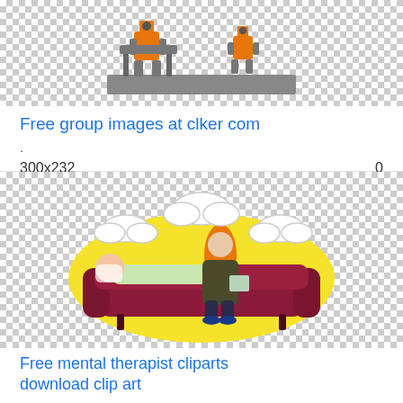[Figure (illustration): Clipart illustration of two orange robot/construction figures sitting at a gray table/desk, with checkerboard transparency pattern background]
Free group images at clker com
.
300x232   0
[Figure (illustration): Clipart illustration of a therapist session: a person lying on a dark red couch and a therapist sitting beside them, surrounded by a large yellow oval and white clouds, checkerboard transparency pattern background]
Free mental therapist cliparts download clip art